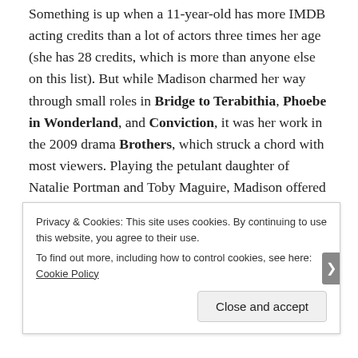Something is up when a 11-year-old has more IMDB acting credits than a lot of actors three times her age (she has 28 credits, which is more than anyone else on this list). But while Madison charmed her way through small roles in Bridge to Terabithia, Phoebe in Wonderland, and Conviction, it was her work in the 2009 drama Brothers, which struck a chord with most viewers. Playing the petulant daughter of Natalie Portman and Toby Maguire, Madison offered something so rare for a child actor – believability. Her acting was refreshingly natural, and it made for a magnetic performance. It was probably one of the best
Privacy & Cookies: This site uses cookies. By continuing to use this website, you agree to their use.
To find out more, including how to control cookies, see here: Cookie Policy
Close and accept